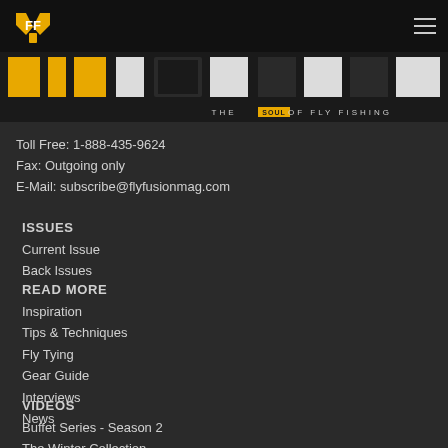[Figure (logo): Fly Fusion magazine logo — stylized FF wings in gold/yellow on black header bar, with hamburger menu icon on right]
[Figure (screenshot): Fly Fusion magazine banner — large block text 'fly fusion' with gold and white blocks, subtitle 'THE SOUL OF FLY FISHING' on dark background]
Toll Free: 1-888-435-9624
Fax: Outgoing only
E-Mail: subscribe@flyfusionmag.com
ISSUES
Current Issue
Back Issues
READ MORE
Inspiration
Tips & Techniques
Fly Tying
Gear Guide
Interviews
News
VIDEOS
Buffet Series - Season 2
The Winter Collection